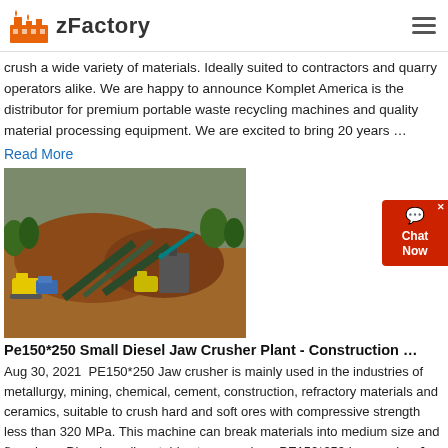zFactory
crush a wide variety of materials. Ideally suited to contractors and quarry operators alike. We are happy to announce Komplet America is the distributor for premium portable waste recycling machines and quality material processing equipment. We are excited to bring 20 years …
Read More
[Figure (photo): Mining/quarrying site with heavy machinery, conveyor belts, and large mounds of excavated earth and rock]
Pe150*250 Small Diesel Jaw Crusher Plant - Construction …
Aug 30, 2021  PE150*250 Jaw crusher is mainly used in the industries of metallurgy, mining, chemical, cement, construction, refractory materials and ceramics, suitable to crush hard and soft ores with compressive strength less than 320 MPa. This machine can break materials into medium size and fine size.:::Diesel small portable stone crushers PE150*250 jaw crusher Jaw Crusher Machine: Portable…